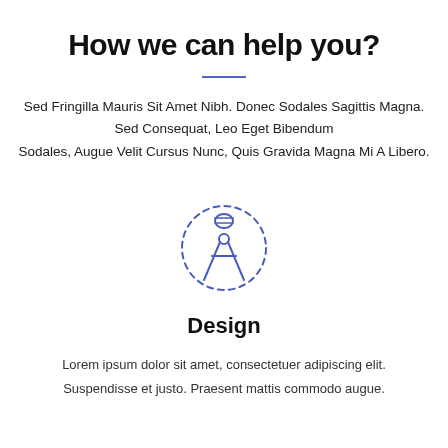How we can help you?
Sed Fringilla Mauris Sit Amet Nibh. Donec Sodales Sagittis Magna. Sed Consequat, Leo Eget Bibendum Sodales, Augue Velit Cursus Nunc, Quis Gravida Magna Mi A Libero.
[Figure (illustration): A blue dashed-circle icon with a compass/drafting tool inside, representing Design]
Design
Lorem ipsum dolor sit amet, consectetuer adipiscing elit. Suspendisse et justo. Praesent mattis commodo augue.